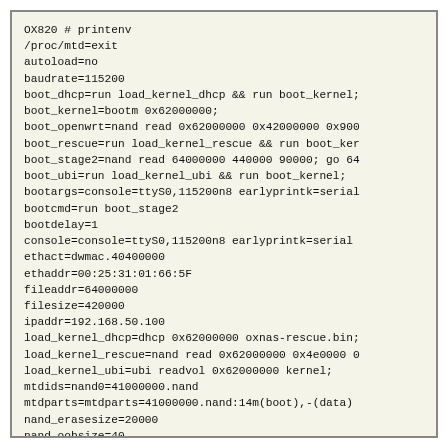OX820 # printenv
/proc/mtd=exit
autoload=no
baudrate=115200
boot_dhcp=run load_kernel_dhcp && run boot_kernel;
boot_kernel=bootm 0x62000000;
boot_openwrt=nand read 0x62000000 0x42000000 0x900
boot_rescue=run load_kernel_rescue && run boot_ker
boot_stage2=nand read 64000000 440000 90000; go 64
boot_ubi=run load_kernel_ubi && run boot_kernel;
bootargs=console=ttyS0,115200n8 earlyprintk=serial
bootcmd=run boot_stage2
bootdelay=1
console=console=ttyS0,115200n8 earlyprintk=serial
ethact=dwmac.40400000
ethaddr=00:25:31:01:66:5F
fileaddr=64000000
filesize=420000
ipaddr=192.168.50.100
load_kernel_dhcp=dhcp 0x62000000 oxnas-rescue.bin;
load_kernel_rescue=nand read 0x62000000 0x4e0000 0
load_kernel_ubi=ubi readvol 0x62000000 kernel;
mtdids=nand0=41000000.nand
mtdparts=mtdparts=41000000.nand:14m(boot),-(data)
nand_erasesize=20000
nand_oobsize=40
nand_writesize=800
normalboot=run boot_ubi; run boot_rescue; run boot
serverin=192.168.50.59